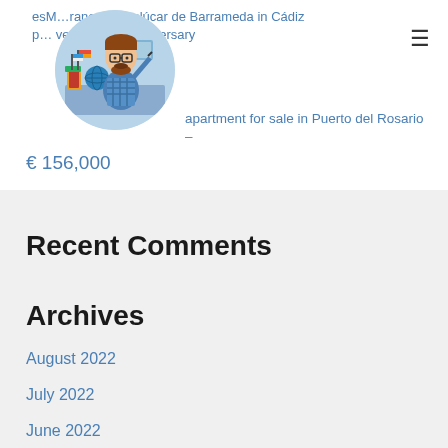[Figure (illustration): Circular avatar illustration of a man with glasses and beard sitting at a desk with a globe, books, and flags, in a cartoon style]
esM…rano as Sanlúcar de Barrameda in Cadiz p…very special anniversary
apartment for sale in Puerto del Rosario – € 156,000
Recent Comments
Archives
August 2022
July 2022
June 2022
January 2022